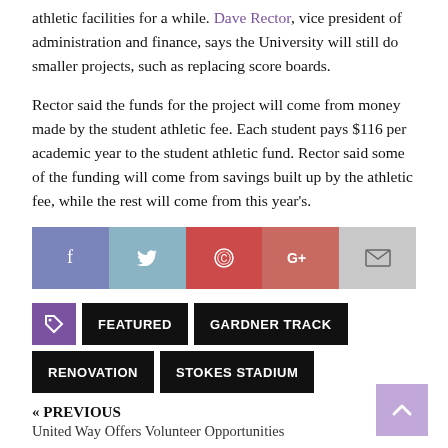athletic facilities for a while. Dave Rector, vice president of administration and finance, says the University will still do smaller projects, such as replacing score boards.
Rector said the funds for the project will come from money made by the student athletic fee. Each student pays $116 per academic year to the student athletic fund. Rector said some of the funding will come from savings built up by the athletic fee, while the rest will come from this year’s.
[Figure (infographic): Social sharing buttons: Facebook, Twitter, Pinterest, Google+, Email]
FEATURED
GARDNER TRACK
RENOVATION
STOKES STADIUM
« PREVIOUS
United Way Offers Volunteer Opportunities